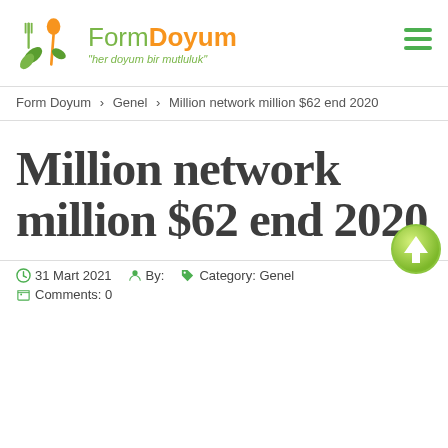[Figure (logo): FormDoyum logo with fork, spoon and leaf icon plus brand name and tagline]
Form Doyum > Genel > Million network million $62 end 2020
Million network million $62 end 2020
31 Mart 2021   By:   Category: Genel   Comments: 0